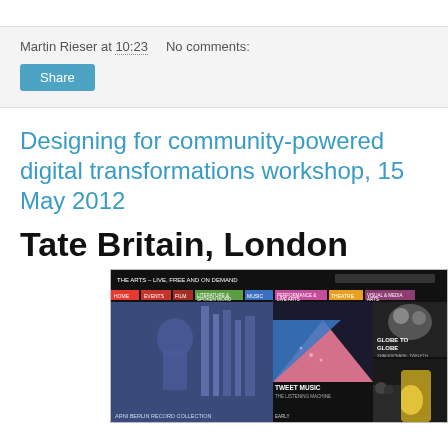Martin Rieser at 10:23   No comments:
Share
Designing for community-powered digital transformations workshop, 15 May 2012
Tate Britain, London
[Figure (screenshot): Screenshot of a website showing 'The Arts - Live, Free and On Demand' with colorful navigation tabs including news, events, film, literature & spoken word, music, performance & live arts, theatre, visual & media arts. Below are images including a blue-tinted photo of a person and tall structures, a geometric triangle shape in blue and pink with 'Tweet Music The Listening Machine' text, a 'Globe to Globe Shakespeare Twelfth Night' section, and partial images of other arts content.]